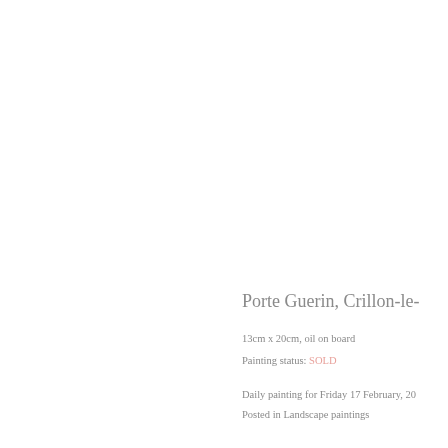Porte Guerin, Crillon-le-
13cm x 20cm, oil on board
Painting status: SOLD
Daily painting for Friday 17 February, 20
Posted in Landscape paintings